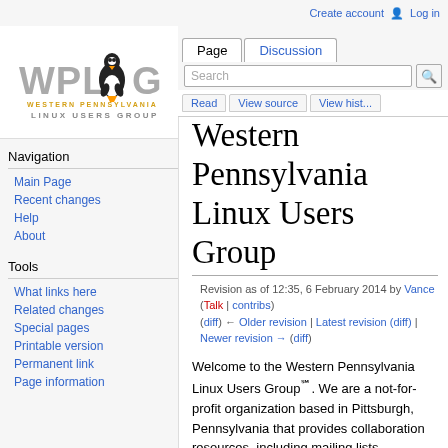Create account  Log in
[Figure (logo): WPLUG - Western Pennsylvania Linux Users Group logo with Tux penguin]
Navigation
Main Page
Recent changes
Help
About
Tools
What links here
Related changes
Special pages
Printable version
Permanent link
Page information
Western Pennsylvania Linux Users Group
Revision as of 12:35, 6 February 2014 by Vance (Talk | contribs)
(diff) ← Older revision | Latest revision (diff) | Newer revision → (diff)
Welcome to the Western Pennsylvania Linux Users Group℠. We are a not-for-profit organization based in Pittsburgh, Pennsylvania that provides collaboration resources, including mailing lists, presentations, installfests, and this wiki for Linux users of all backgrounds.